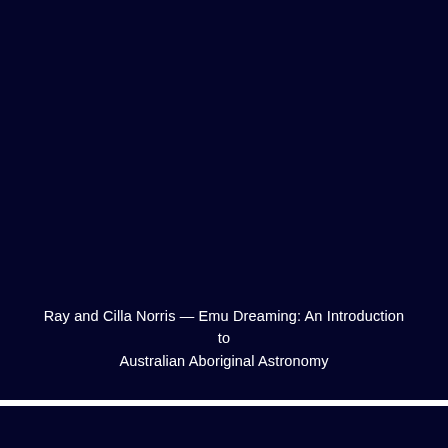Ray and Cilla Norris — Emu Dreaming: An Introduction to Australian Aboriginal Astronomy